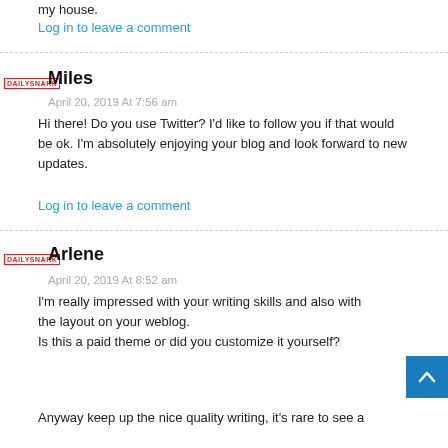my house.
Log in to leave a comment
Miles
April 20, 2019 At 7:56 am
Hi there! Do you use Twitter? I'd like to follow you if that would be ok. I'm absolutely enjoying your blog and look forward to new updates.
Log in to leave a comment
Arlene
April 20, 2019 At 8:52 am
I'm really impressed with your writing skills and also with the layout on your weblog. Is this a paid theme or did you customize it yourself?
Anyway keep up the nice quality writing, it's rare to see a